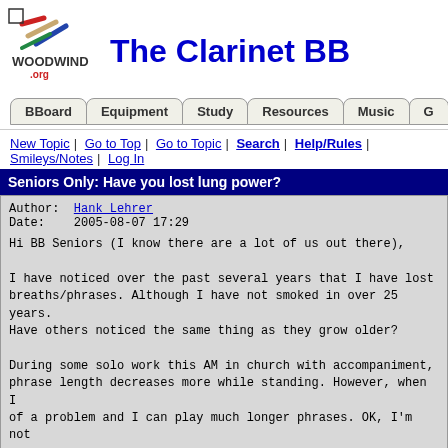[Figure (logo): Woodwind.org logo with text WOODWIND .org]
The Clarinet BB
[Figure (other): Navigation tabs: BBoard, Equipment, Study, Resources, Music, G...]
New Topic | Go to Top | Go to Topic | Search | Help/Rules | Smileys/Notes | Log In
Seniors Only: Have you lost lung power?
Author:  Hank Lehrer
Date:    2005-08-07 17:29

Hi BB Seniors (I know there are a lot of us out there),

I have noticed over the past several years that I have lost breaths/phrases. Although I have not smoked in over 25 years. Have others noticed the same thing as they grow older?

During some solo work this AM in church with accompaniment, phrase length decreases more while standing. However, when I of a problem and I can play much longer phrases. OK, I'm not